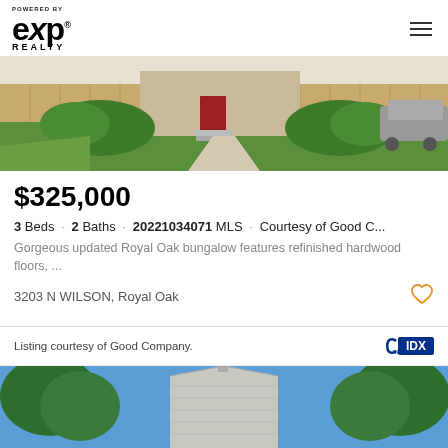POWERED BY eXp REALTY
[Figure (photo): Front exterior of a residential bungalow with green lawn, pathway, shrubs, red front door, wooden fence, and a car partially visible on the right]
$325,000
3 Beds · 2 Baths · 20221034071 MLS · Courtesy of Good C...
Gorgeous updated Royal Oak bungalow features refinished hardwood floors, ...
3203 N WILSON, Royal Oak
Listing courtesy of Good Company.
[Figure (photo): Exterior roof and upper portion of a residential house with gray siding, peaked roofline, surrounded by green trees under a blue sky]